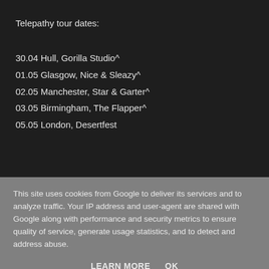Telepathy tour dates:
30.04 Hull, Gorilla Studio^
01.05 Glasgow, Nice & Sleazy^
02.05 Manchester, Star & Garter^
03.05 Birmingham, The Flapper^
05.05 London, Desertfest
This site uses cookies from Google to deliver its services and to analyze traffic. Your IP address and user-agent are shared with Google along with performance and security metrics to ensure quality of service, generate usage statistics, and to detect and address abuse.
LEARN MORE    OK